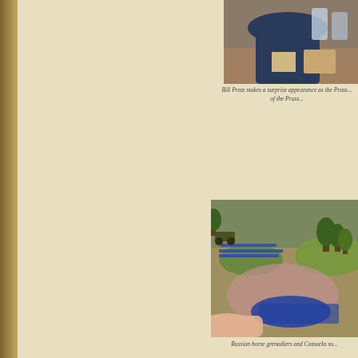[Figure (photo): Bill Protz at a gaming table, visible from shoulders up, wearing dark clothing, with gaming materials on the table]
Bill Protz makes a surprise appearance as the Pruss... of the Pruss...
[Figure (photo): Wargaming tabletop scene showing Russian horse grenadiers and Cossacks miniature figurines on a terrain board with trees, fields, and hills]
Russian horse grenadiers and Cossacks so...